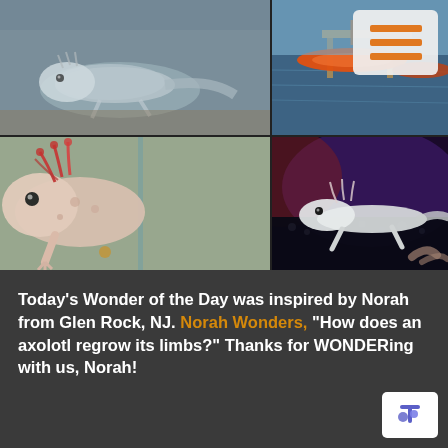[Figure (photo): Top-left: axolotl underwater, grayish-blue tones]
[Figure (photo): Top-right: colorful kayaks/boats on water]
[Figure (photo): Bottom-left: pink axolotl close-up with feathery gills against glass tank]
[Figure (photo): Bottom-right: small pale axolotl on dark gravel under purple/blue light]
Today’s Wonder of the Day was inspired by Norah from Glen Rock, NJ. Norah Wonders, “How does an axolotl regrow its limbs?” Thanks for WONDERing with us, Norah!